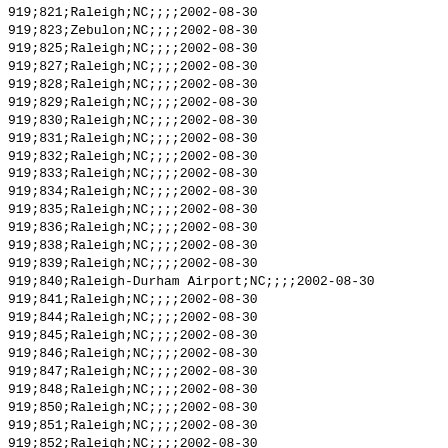919;821;Raleigh;NC;;;;2002-08-30
919;823;Zebulon;NC;;;;2002-08-30
919;825;Raleigh;NC;;;;2002-08-30
919;827;Raleigh;NC;;;;2002-08-30
919;828;Raleigh;NC;;;;2002-08-30
919;829;Raleigh;NC;;;;2002-08-30
919;830;Raleigh;NC;;;;2002-08-30
919;831;Raleigh;NC;;;;2002-08-30
919;832;Raleigh;NC;;;;2002-08-30
919;833;Raleigh;NC;;;;2002-08-30
919;834;Raleigh;NC;;;;2002-08-30
919;835;Raleigh;NC;;;;2002-08-30
919;836;Raleigh;NC;;;;2002-08-30
919;838;Raleigh;NC;;;;2002-08-30
919;839;Raleigh;NC;;;;2002-08-30
919;840;Raleigh-Durham Airport;NC;;;;2002-08-30
919;841;Raleigh;NC;;;;2002-08-30
919;844;Raleigh;NC;;;;2002-08-30
919;845;Raleigh;NC;;;;2002-08-30
919;846;Raleigh;NC;;;;2002-08-30
919;847;Raleigh;NC;;;;2002-08-30
919;848;Raleigh;NC;;;;2002-08-30
919;850;Raleigh;NC;;;;2002-08-30
919;851;Raleigh;NC;;;;2002-08-30
919;852;Raleigh;NC;;;;2002-08-30
919;853;Louisburg;NC;;;;
919;854;Raleigh;NC;;;;2002-08-30
919;855;Raleigh;NC;;;;2002-08-30
919;856;Raleigh;NC;;;;2002-08-30
919;857;Raleigh;NC;;;;2002-08-30